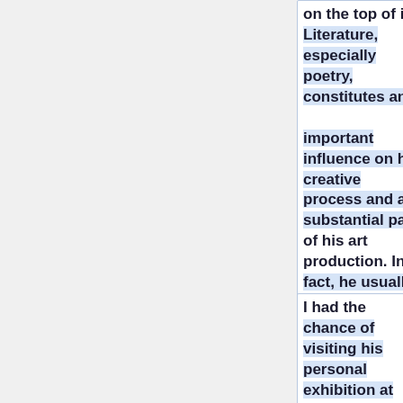on the top of it. Literature, especially poetry, constitutes an important influence on his creative process and a substantial part of his art production. In fact, he usually writes the text of his videos himself. <br>
I had the chance of visiting his personal exhibition at Castello di Rivoli, Tori...